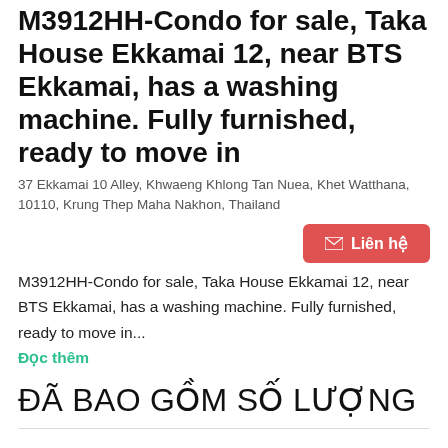M3912HH-Condo for sale, Taka House Ekkamai 12, near BTS Ekkamai, has a washing machine. Fully furnished, ready to move in
37 Ekkamai 10 Alley, Khwaeng Khlong Tan Nuea, Khet Watthana, 10110, Krung Thep Maha Nakhon, Thailand
M3912HH-Condo for sale, Taka House Ekkamai 12, near BTS Ekkamai, has a washing machine. Fully furnished, ready to move in...
Đọc thêm
ĐÃ BAO GỒM SỐ LƯỢNG
CƠ SỞ VẬT CHẤT
Bãi giữ xe